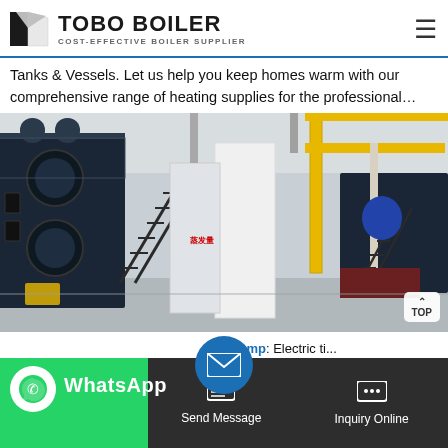TOBO BOILER — COST-EFFECTIVE BOILER SUPPLIER
Tanks & Vessels. Let us help you keep homes warm with our comprehensive range of heating supplies for the professional…
[Figure (photo): Industrial boiler room with large dark-blue boilers, metal staircases, yellow piping, and support columns in a factory facility.]
WhatsApp
ea mp: Electric ti...
Send Message
Inquiry Online